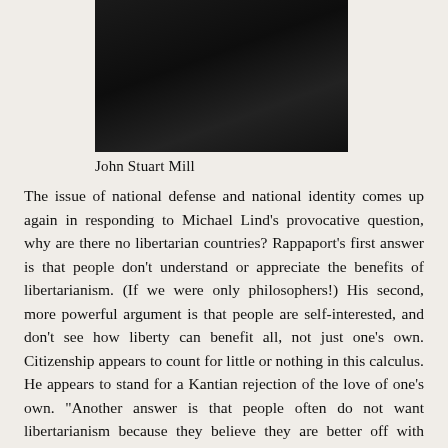[Figure (photo): Black and white photograph of John Stuart Mill, shown from chest up against a dark background]
John Stuart Mill
The issue of national defense and national identity comes up again in responding to Michael Lind’s provocative question, why are there no libertarian countries? Rappaport’s first answer is that people don’t understand or appreciate the benefits of libertarianism. (If we were only philosophers!) His second, more powerful argument is that people are self-interested, and don’t see how liberty can benefit all, not just one’s own. Citizenship appears to count for little or nothing in this calculus. He appears to stand for a Kantian rejection of the love of one’s own. “Another answer is that people often do not want libertarianism because they believe they are better off with restrictions...